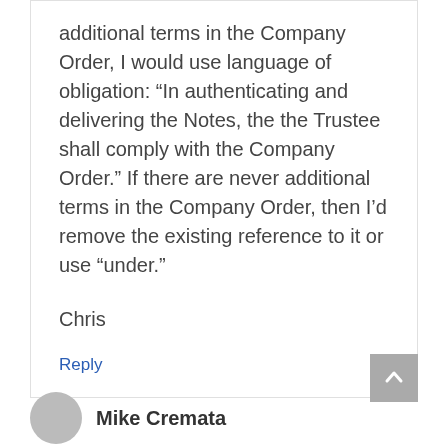additional terms in the Company Order, I would use language of obligation: “In authenticating and delivering the Notes, the the Trustee shall comply with the Company Order.” If there are never additional terms in the Company Order, then I’d remove the existing reference to it or use “under.”
Chris
Reply
Mike Cremata